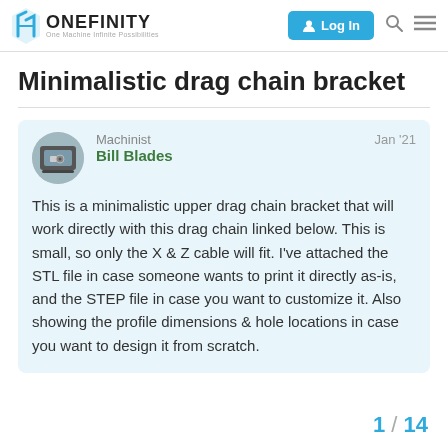Onefinity — One Machine Infinite Possibilities | Log In
Minimalistic drag chain bracket
Machinist Bill Blades  Jan '21

This is a minimalistic upper drag chain bracket that will work directly with this drag chain linked below. This is small, so only the X & Z cable will fit. I've attached the STL file in case someone wants to print it directly as-is, and the STEP file in case you want to customize it. Also showing the profile dimensions & hole locations in case you want to design it from scratch.
1 / 14